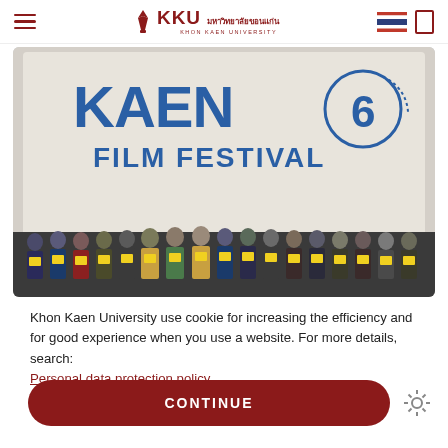KKU มหาวิทยาลัยขอนแก่น KHON KAEN UNIVERSITY
[Figure (photo): Group photo of people standing on stage in front of a KAEN 6 FILM FESTIVAL banner, each person holding a yellow clapperboard sign]
Khon Kaen University use cookie for increasing the efficiency and for good experience when you use a website. For more details, search: Personal data protection policy
CONTINUE